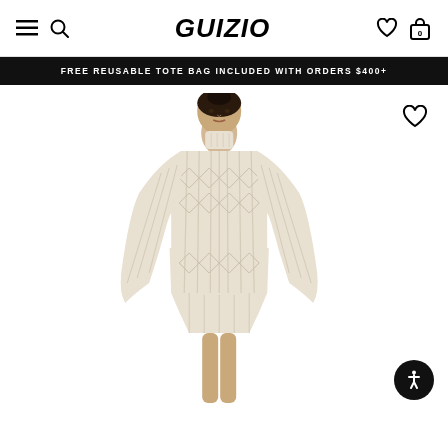GUIZIO — navigation bar with hamburger menu, search, brand logo, wishlist, and cart icons
FREE REUSABLE TOTE BAG INCLUDED WITH ORDERS $400+
[Figure (photo): Fashion model wearing a cream/off-white cable-knit mini dress with turtleneck, long sleeves, and side cutouts. Model has dark hair pulled back. Wishlist heart icon top right. Accessibility button bottom right.]